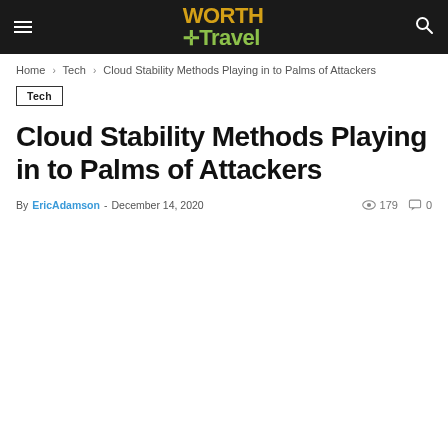Worth Travel — navigation header with hamburger menu, logo, and search icon
Home › Tech › Cloud Stability Methods Playing in to Palms of Attackers
Tech
Cloud Stability Methods Playing in to Palms of Attackers
By EricAdamson - December 14, 2020  179  0